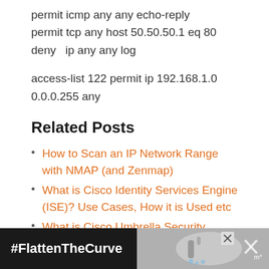permit icmp any any echo-reply
permit tcp any host 50.50.50.1 eq 80
deny   ip any any log
access-list 122 permit ip 192.168.1.0 0.0.0.255 any
Related Posts
How to Scan an IP Network Range with NMAP (and Zenmap)
What is Cisco Identity Services Engine (ISE)? Use Cases, How it is Used etc
What is Cisco Umbrella Security Service? Discussion – Use Cases – Features
[Figure (other): Advertisement banner: #FlattenTheCurve with handwashing image]